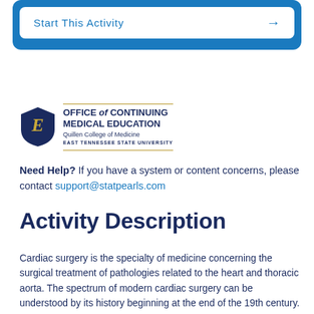[Figure (screenshot): Blue rounded rectangle card with 'Start This Activity' button and right arrow, white background button inside blue card]
[Figure (logo): ETSU Office of Continuing Medical Education logo: shield with E emblem, text 'OFFICE of CONTINUING MEDICAL EDUCATION, Quillen College of Medicine, EAST TENNESSEE STATE UNIVERSITY' with gold horizontal rules]
Need Help?  If you have a system or content concerns, please contact support@statpearls.com
Activity Description
Cardiac surgery is the specialty of medicine concerning the surgical treatment of pathologies related to the heart and thoracic aorta. The spectrum of modern cardiac surgery can be understood by its history beginning at the end of the 19th century. Since then cardiac surgery developed through the work of numerous dedicated surgeons offering more